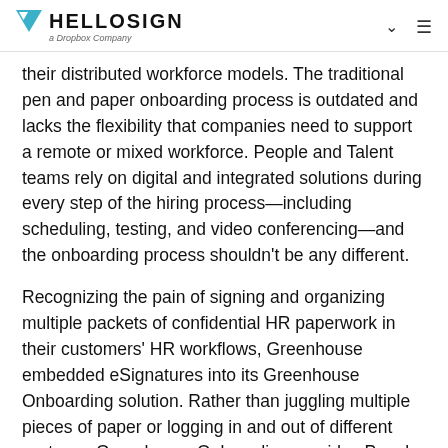HELLOSIGN a Dropbox Company
their distributed workforce models. The traditional pen and paper onboarding process is outdated and lacks the flexibility that companies need to support a remote or mixed workforce. People and Talent teams rely on digital and integrated solutions during every step of the hiring process—including scheduling, testing, and video conferencing—and the onboarding process shouldn't be any different.
Recognizing the pain of signing and organizing multiple packets of confidential HR paperwork in their customers' HR workflows, Greenhouse embedded eSignatures into its Greenhouse Onboarding solution. Rather than juggling multiple pieces of paper or logging in and out of different systems, Greenhouse Onboarding provides People teams and Hiring Managers with a structured and automated onboarding process to set up new hires